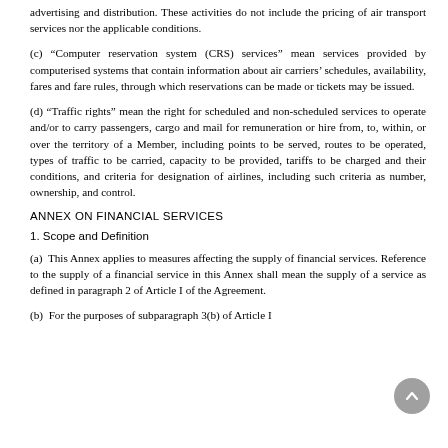advertising and distribution. These activities do not include the pricing of air transport services nor the applicable conditions.
(c) “Computer reservation system (CRS) services” mean services provided by computerised systems that contain information about air carriers’ schedules, availability, fares and fare rules, through which reservations can be made or tickets may be issued.
(d) “Traffic rights” mean the right for scheduled and non-scheduled services to operate and/or to carry passengers, cargo and mail for remuneration or hire from, to, within, or over the territory of a Member, including points to be served, routes to be operated, types of traffic to be carried, capacity to be provided, tariffs to be charged and their conditions, and criteria for designation of airlines, including such criteria as number, ownership, and control.
ANNEX ON FINANCIAL SERVICES
1. Scope and Definition
(a)  This Annex applies to measures affecting the supply of financial services. Reference to the supply of a financial service in this Annex shall mean the supply of a service as defined in paragraph 2 of Article I of the Agreement.
(b)  For the purposes of subparagraph 3(b) of Article I